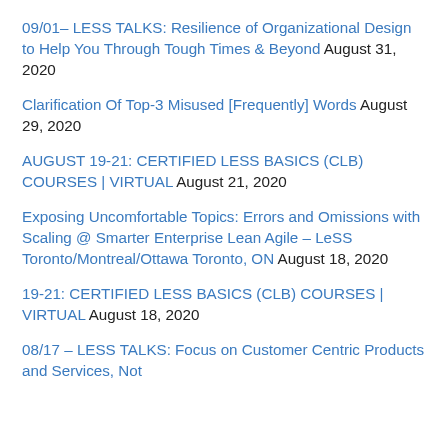09/01– LESS TALKS: Resilience of Organizational Design to Help You Through Tough Times & Beyond August 31, 2020
Clarification Of Top-3 Misused [Frequently] Words August 29, 2020
AUGUST 19-21: CERTIFIED LESS BASICS (CLB) COURSES | VIRTUAL August 21, 2020
Exposing Uncomfortable Topics: Errors and Omissions with Scaling @ Smarter Enterprise Lean Agile – LeSS Toronto/Montreal/Ottawa Toronto, ON August 18, 2020
19-21: CERTIFIED LESS BASICS (CLB) COURSES | VIRTUAL August 18, 2020
08/17 – LESS TALKS: Focus on Customer Centric Products and Services, Not Transformation with Tim Abbott August 16,